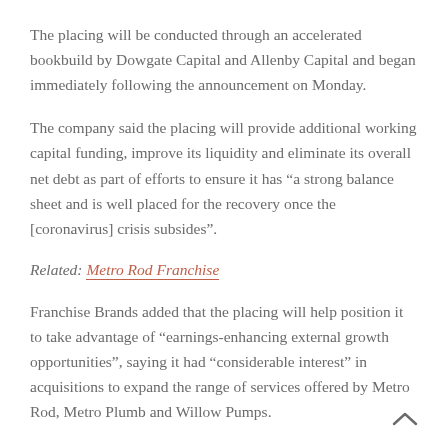The placing will be conducted through an accelerated bookbuild by Dowgate Capital and Allenby Capital and began immediately following the announcement on Monday.
The company said the placing will provide additional working capital funding, improve its liquidity and eliminate its overall net debt as part of efforts to ensure it has “a strong balance sheet and is well placed for the recovery once the [coronavirus] crisis subsides”.
Related: Metro Rod Franchise
Franchise Brands added that the placing will help position it to take advantage of “earnings-enhancing external growth opportunities”, saying it had “considerable interest” in acquisitions to expand the range of services offered by Metro Rod, Metro Plumb and Willow Pumps.